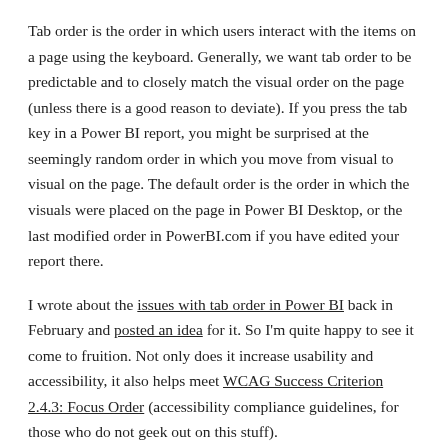Tab order is the order in which users interact with the items on a page using the keyboard. Generally, we want tab order to be predictable and to closely match the visual order on the page (unless there is a good reason to deviate). If you press the tab key in a Power BI report, you might be surprised at the seemingly random order in which you move from visual to visual on the page. The default order is the order in which the visuals were placed on the page in Power BI Desktop, or the last modified order in PowerBI.com if you have edited your report there.
I wrote about the issues with tab order in Power BI back in February and posted an idea for it. So I'm quite happy to see it come to fruition. Not only does it increase usability and accessibility, it also helps meet WCAG Success Criterion 2.4.3: Focus Order (accessibility compliance guidelines, for those who do not geek out on this stuff).